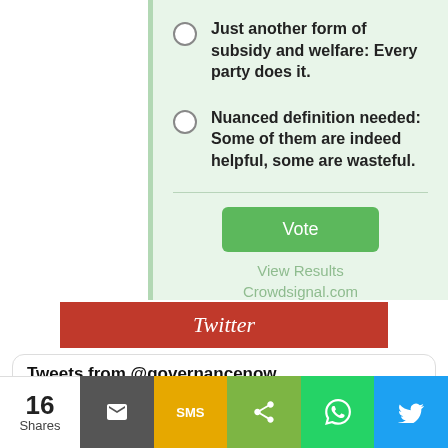Just another form of subsidy and welfare: Every party does it.
Nuanced definition needed: Some of them are indeed helpful, some are wasteful.
Vote
View Results
Crowdsignal.com
Twitter
Tweets from @governancenow
Governance Now @governancenow · 20h
16 Shares